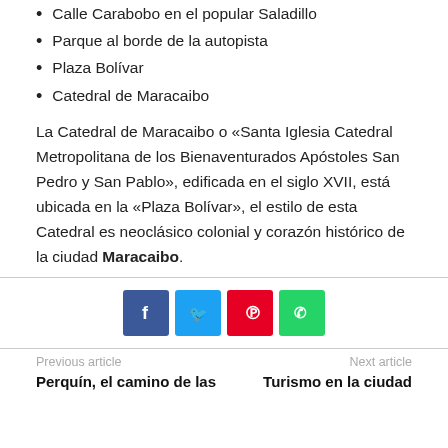Calle Carabobo en el popular Saladillo
Parque al borde de la autopista
Plaza Bolívar
Catedral de Maracaibo
La Catedral de Maracaibo o «Santa Iglesia Catedral Metropolitana de los Bienaventurados Apóstoles San Pedro y San Pablo», edificada en el siglo XVII, está ubicada en la «Plaza Bolívar», el estilo de esta Catedral es neoclásico colonial y corazón histórico de la ciudad Maracaibo.
[Figure (infographic): Social sharing buttons: Facebook (blue), Twitter (light blue), Pinterest (red), WhatsApp (green)]
Previous article | Next article
Perquín, el camino de las | Turismo en la ciudad